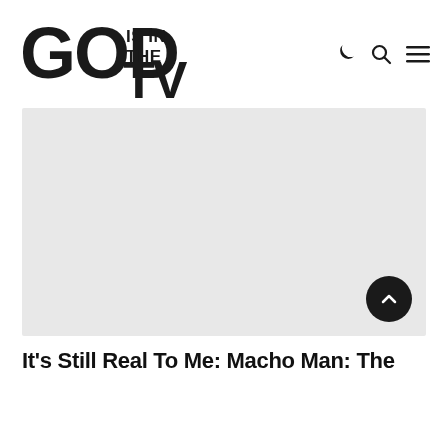[Figure (logo): God Is In The TV logo — bold distressed block lettering in black]
[Figure (photo): Large light grey placeholder hero image area]
It's Still Real To Me: Macho Man: The